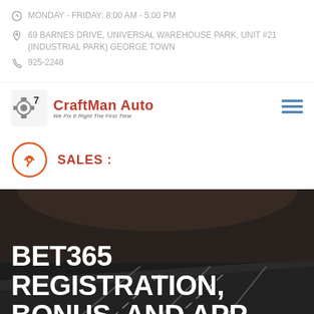MONDAY - FRIDAY: 8:00 AM - 5:00 PM
69 BARNES DRIVE, UNIVERSAL WAREHOUSE PARK, UNIT #21 (INDUSTRIAL PARK) GEORGE TOWN
925-2248
[Figure (logo): CraftMan Auto logo with wrench/mechanic icon and tagline 'We Fix It Right The First Time']
SALES :
BET365 REGISTRATION, BONUS, AND APP